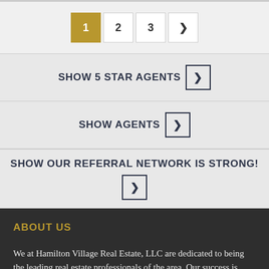[Figure (infographic): Pagination controls showing pages 1 (active/gold), 2, 3, and a next arrow button]
SHOW 5 STAR AGENTS >
SHOW AGENTS >
SHOW OUR REFERRAL NETWORK IS STRONG! >
ABOUT US
We at Hamilton Village Real Estate, LLC are dedicated to being the leading real estate professionals of the area. Our success is